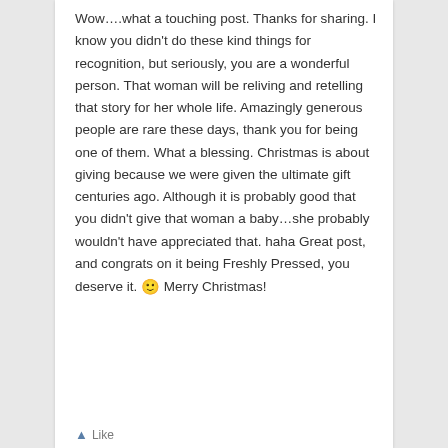Wow….what a touching post. Thanks for sharing. I know you didn't do these kind things for recognition, but seriously, you are a wonderful person. That woman will be reliving and retelling that story for her whole life. Amazingly generous people are rare these days, thank you for being one of them. What a blessing. Christmas is about giving because we were given the ultimate gift centuries ago. Although it is probably good that you didn't give that woman a baby…she probably wouldn't have appreciated that. haha Great post, and congrats on it being Freshly Pressed, you deserve it. 🙂 Merry Christmas!